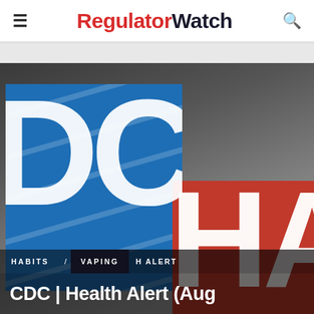RegulatorWatch
[Figure (photo): Composite image showing a CDC logo (blue background with white 'DC' letters and diagonal lines) overlapping with a red 'HA' (Health Alert) logo. Text overlays at bottom show category tags 'HABITS / VAPING HEALTH ALERT' and a partial article title 'CDC | Health Alert (Aug']